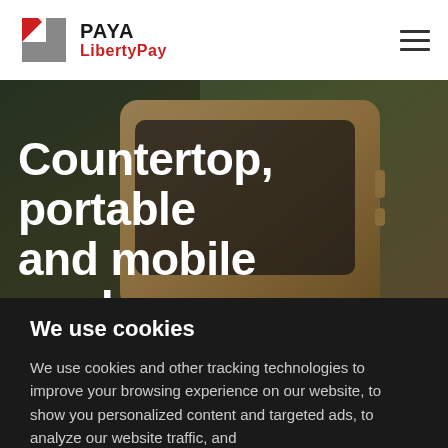PAYA LibertyPay
[Figure (screenshot): Close-up photo of a gold smartphone/card reader device on a dark background, serving as hero image for a payment terminal product page]
Countertop, portable and mobile card
We use cookies
We use cookies and other tracking technologies to improve your browsing experience on our website, to show you personalized content and targeted ads, to analyze our website traffic, and